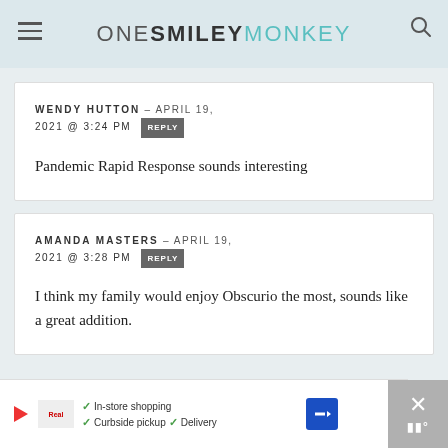ONE SMILEY MONKEY
WENDY HUTTON – APRIL 19, 2021 @ 3:24 PM REPLY
Pandemic Rapid Response sounds interesting
AMANDA MASTERS – APRIL 19, 2021 @ 3:28 PM REPLY
I think my family would enjoy Obscurio the most, sounds like a great addition.
[Figure (other): Advertisement banner: In-store shopping, Curbside pickup, Delivery with store logo and navigation arrow icon]